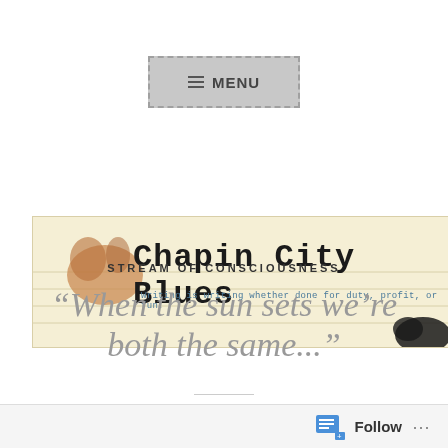[Figure (screenshot): Gray menu button with dashed border and hamburger icon labeled MENU]
[Figure (illustration): Chapin City Blues blog banner with cream/notebook paper background, large serif title, subtitle text 'Writing is writing whether done for duty, profit, or fun.', decorative ink blot and rabbit illustration]
STREAM OF CONSCIOUSNESS
“When the sun sets we’re both the same...”
December 15, 2015 — Guillermo
[Figure (screenshot): WordPress Follow bar at the bottom with follow icon and ellipsis menu]